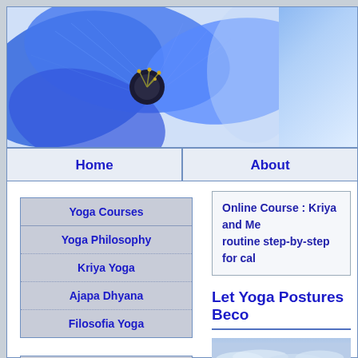[Figure (photo): Blue flower (hydrangea/morning glory) close-up photo used as header banner]
Home | About
Yoga Courses
Yoga Philosophy
Kriya Yoga
Ajapa Dhyana
Filosofia Yoga
Yoga Articles
Yoga & Spirituality
Online Course : Kriya and Me... routine step-by-step for cal...
Let Yoga Postures Beco...
[Figure (photo): Outdoor scenic photo showing trees and cloudy sky]